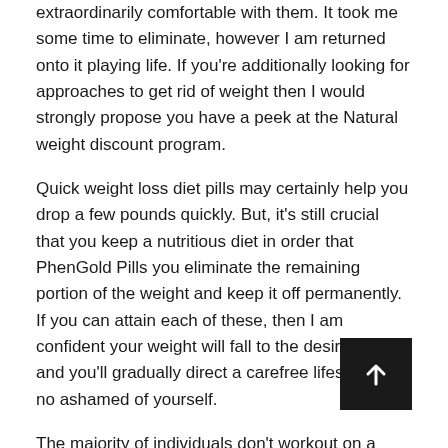extraordinarily comfortable with them. It took me some time to eliminate, however I am returned onto it playing life. If you're additionally looking for approaches to get rid of weight then I would strongly propose you have a peek at the Natural weight discount program.
Quick weight loss diet pills may certainly help you drop a few pounds quickly. But, it's still crucial that you keep a nutritious diet in order that PhenGold Pills you eliminate the remaining portion of the weight and keep it off permanently. If you can attain each of these, then I am confident your weight will fall to the desired levels and you'll gradually direct a carefree lifestyle with no ashamed of yourself.
The majority of individuals don't workout on a complete